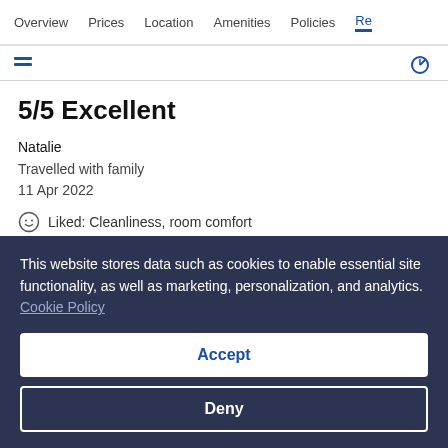Overview  Prices  Location  Amenities  Policies  Re...
5/5 Excellent
Natalie
Travelled with family
11 Apr 2022
Liked: Cleanliness, room comfort
Lovely apartment only a short walk from the city centre
Stayed 1 night in Apr 2022
This website stores data such as cookies to enable essential site functionality, as well as marketing, personalization, and analytics. Cookie Policy
Accept
Deny